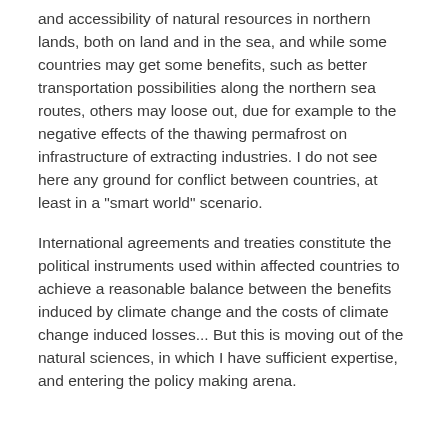and accessibility of natural resources in northern lands, both on land and in the sea, and while some countries may get some benefits, such as better transportation possibilities along the northern sea routes, others may loose out, due for example to the negative effects of the thawing permafrost on infrastructure of extracting industries. I do not see here any ground for conflict between countries, at least in a "smart world" scenario.
International agreements and treaties constitute the political instruments used within affected countries to achieve a reasonable balance between the benefits induced by climate change and the costs of climate change induced losses... But this is moving out of the natural sciences, in which I have sufficient expertise, and entering the policy making arena.